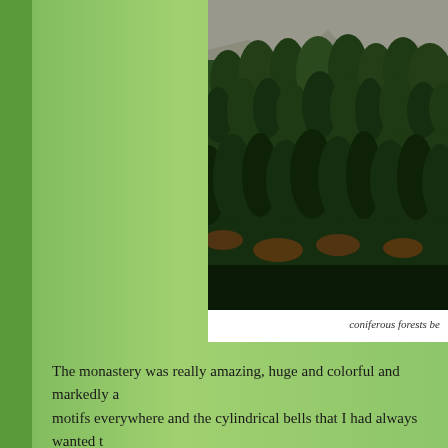[Figure (photo): Photograph of coniferous forests on a hillside, with dense green trees covering a steep slope and rocky mountain visible in the background.]
coniferous forests be
The monastery was really amazing, huge and colorful and markedly a... motifs everywhere and the cylindrical bells that I had always wanted t... running from the main temple and lined for breakfast. We too went ins... obliged. A visit to Urgelling Monastery, the birthplace of the 6th Dalai... the most crucial part, the haggle for the return journey. Much like at ev... the town looking for alternatives but nowhere it seemed a viable optio... had our train to Kolkata the very next day from Guwahati so we had t... seats (from much help of Himalayan Holidays) in an SUV which need... just when we started losing hope came the news that the car was ready... disinterest and indifference we headed for Tezpur and not before long